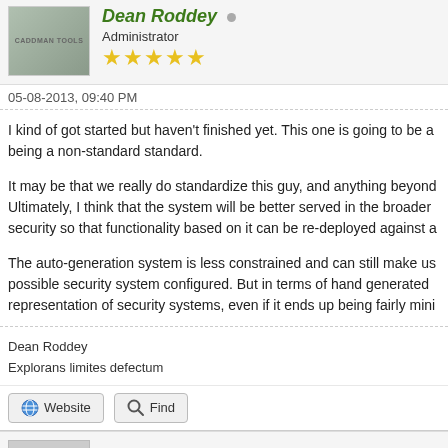Dean Roddey
Administrator
05-08-2013, 09:40 PM
I kind of got started but haven't finished yet. This one is going to be a being a non-standard standard.
It may be that we really do standardize this guy, and anything beyond Ultimately, I think that the system will be better served in the broader security so that functionality based on it can be re-deployed against a
The auto-generation system is less constrained and can still make us possible security system configured. But in terms of hand generated representation of security systems, even if it ends up being fairly mini
Dean Roddey
Explorans limites defectum
Website
Find
wuench